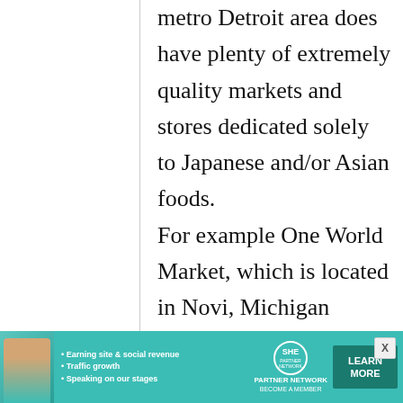metro Detroit area does have plenty of extremely quality markets and stores dedicated solely to Japanese and/or Asian foods. For example One World Market, which is located in Novi, Michigan (about 25 minutes outside of
[Figure (infographic): Advertisement banner for SHE Partner Network. Teal/green background with photo of a woman, bullet points about earning site & social revenue, traffic growth, speaking on stages, SHE Partner Network logo, and a Learn More button.]